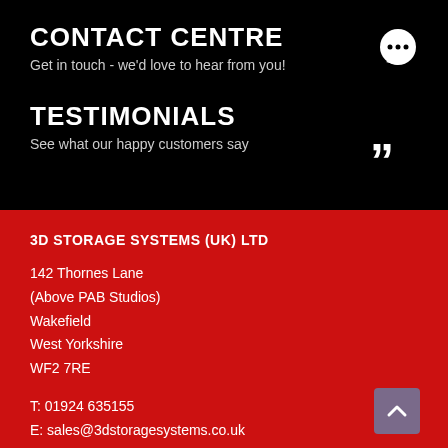CONTACT CENTRE
Get in touch - we'd love to hear from you!
TESTIMONIALS
See what our happy customers say
3D STORAGE SYSTEMS (UK) LTD
142 Thornes Lane
(Above PAB Studios)
Wakefield
West Yorkshire
WF2 7RE
T: 01924 635155
E: sales@3dstoragesystems.co.uk